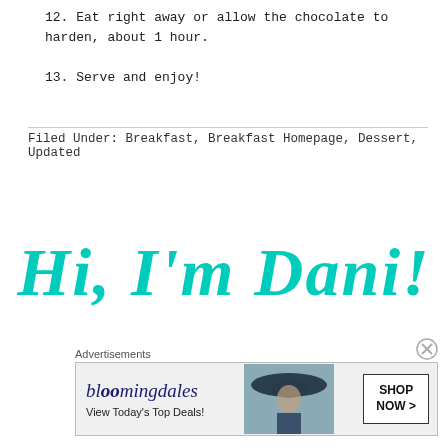12. Eat right away or allow the chocolate to harden, about 1 hour.
13. Serve and enjoy!
Filed Under: Breakfast, Breakfast Homepage, Dessert, Updated
[Figure (illustration): Cursive script text reading 'Hi, I'm Dani!' in large teal/cyan lettering]
Advertisements
[Figure (screenshot): Bloomingdale's advertisement banner: 'View Today's Top Deals!' with SHOP NOW > button and woman in hat image]